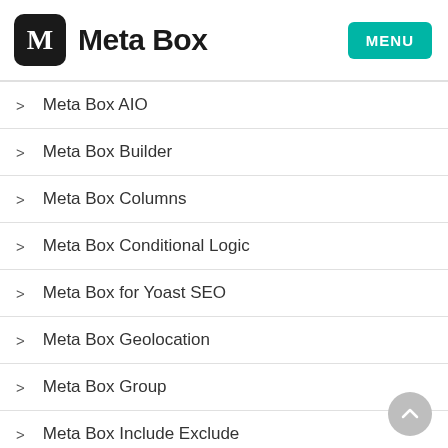Meta Box
Meta Box AIO
Meta Box Builder
Meta Box Columns
Meta Box Conditional Logic
Meta Box for Yoast SEO
Meta Box Geolocation
Meta Box Group
Meta Box Include Exclude
Meta Box Show Hide (Javascript)